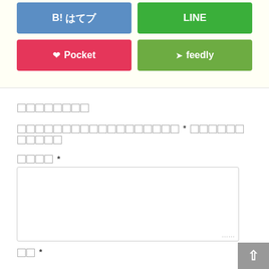[Figure (screenshot): Social share buttons: B! hatena bookmark (blue), LINE (green), Pocket with heart icon (red/pink), feedly with RSS icon (olive green)]
コメントを残す
メールアドレスが公開されることはありません * が付いている欄は必須項目です
コメント *
名前 *